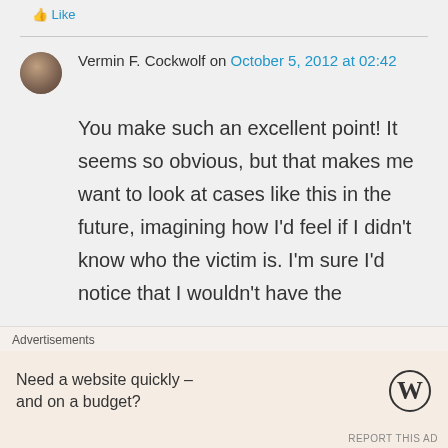Like
Vermin F. Cockwolf on October 5, 2012 at 02:42
You make such an excellent point! It seems so obvious, but that makes me want to look at cases like this in the future, imagining how I'd feel if I didn't know who the victim is. I'm sure I'd notice that I wouldn't have the
Advertisements
Need a website quickly – and on a budget?